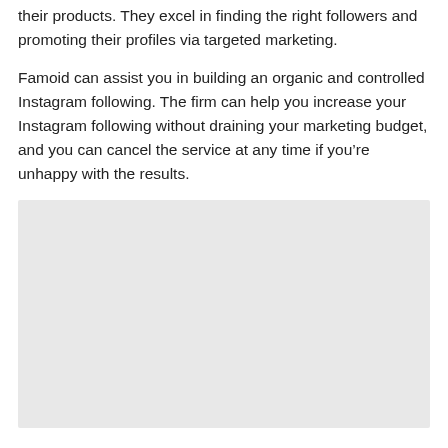their products. They excel in finding the right followers and promoting their profiles via targeted marketing.
Famoid can assist you in building an organic and controlled Instagram following. The firm can help you increase your Instagram following without draining your marketing budget, and you can cancel the service at any time if you’re unhappy with the results.
[Figure (other): Grey placeholder image block]